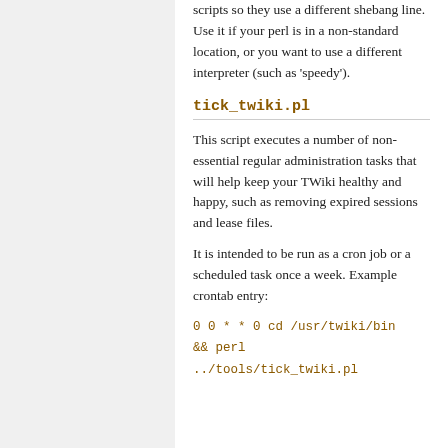scripts so they use a different shebang line. Use it if your perl is in a non-standard location, or you want to use a different interpreter (such as 'speedy').
tick_twiki.pl
This script executes a number of non-essential regular administration tasks that will help keep your TWiki healthy and happy, such as removing expired sessions and lease files.
It is intended to be run as a cron job or a scheduled task once a week. Example crontab entry:
0 0 * * 0 cd /usr/twiki/bin && perl ../tools/tick_twiki.pl